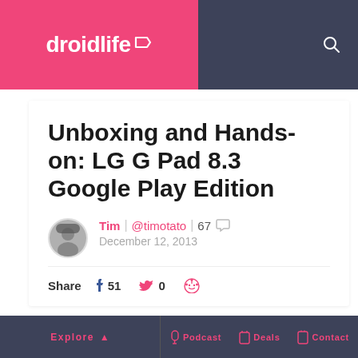droidlife
Unboxing and Hands-on: LG G Pad 8.3 Google Play Edition
Tim | @timotato | 67 | December 12, 2013
Share 51 0
[Figure (photo): LG G Pad 8.3 tablet showing music app with Bruno Mars album, placed on gray surface]
Explore | Podcast | Deals | Contact